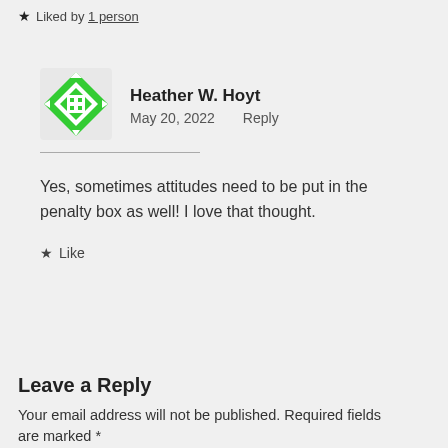★ Liked by 1 person
[Figure (illustration): Green decorative diamond/quilt-pattern avatar icon for user Heather W. Hoyt]
Heather W. Hoyt
May 20, 2022   Reply
Yes, sometimes attitudes need to be put in the penalty box as well! I love that thought.
★ Like
Leave a Reply
Your email address will not be published. Required fields are marked *